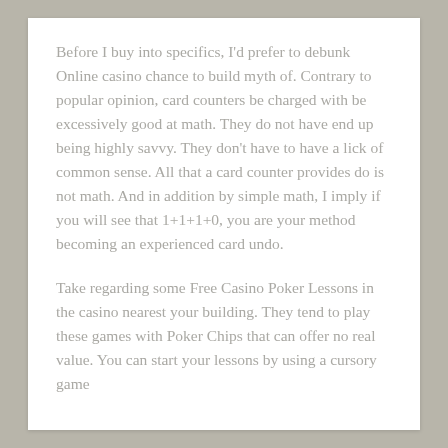Before I buy into specifics, I'd prefer to debunk Online casino chance to build myth of. Contrary to popular opinion, card counters be charged with be excessively good at math. They do not have end up being highly savvy. They don't have to have a lick of common sense. All that a card counter provides do is not math. And in addition by simple math, I imply if you will see that 1+1+1+0, you are your method becoming an experienced card undo.
Take regarding some Free Casino Poker Lessons in the casino nearest your building. They tend to play these games with Poker Chips that can offer no real value. You can start your lessons by using a cursory game